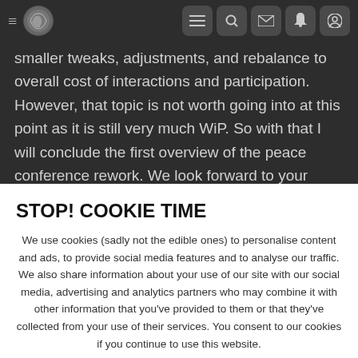Navigation bar with hamburger menu, logo, and icons for list, search, mail, notification, profile
smaller tweaks, adjustments, and rebalance to overall cost of interactions and participation. However, that topic is not worth going into at this point as it is still very much WiP. So with that I will conclude the first overview of the peace conference rework. We look forward to your feedback, hot takes, and hopefully excitement. Until next time o7
👍 103  😢 83  🕐 18  ✅ 14  ❤ 3
STOP! COOKIE TIME
We use cookies (sadly not the edible ones) to personalise content and ads, to provide social media features and to analyse our traffic. We also share information about your use of our site with our social media, advertising and analytics partners who may combine it with other information that you've provided to them or that they've collected from your use of their services. You consent to our cookies if you continue to use this website.
✓ ACCEPT